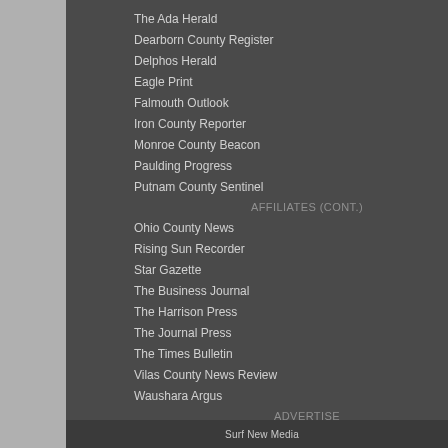The Ada Herald
Dearborn County Register
Delphos Herald
Eagle Print
Falmouth Outlook
Iron County Reporter
Monroe County Beacon
Paulding Progress
Putnam County Sentinel
AFFILIATES (CONT.)
Ohio County News
Rising Sun Recorder
Star Gazette
The Business Journal
The Harrison Press
The Journal Press
The Times Bulletin
Vilas County News Review
Waushara Argus
ADVERTISE
Advertising Info
Surf New Media